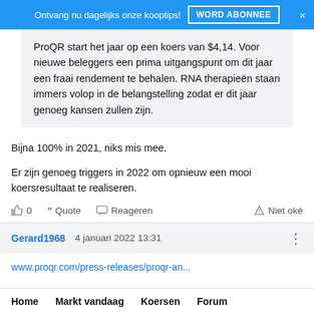Ontvang nu dagelijks onze kooptips! WORD ABONNEE ×
ProQR start het jaar op een koers van $4,14. Voor nieuwe beleggers een prima uitgangspunt om dit jaar een fraai rendement te behalen. RNA therapieën staan immers volop in de belangstelling zodat er dit jaar genoeg kansen zullen zijn.
Bijna 100% in 2021, niks mis mee.
Er zijn genoeg triggers in 2022 om opnieuw een mooi koersresultaat te realiseren.
👍 0   Quote   Reageren   △ Niet oké
Gerard1968   4 januari 2022 13:31
www.proqr.com/press-releases/proqr-an...
Home   Markt vandaag   Koersen   Forum